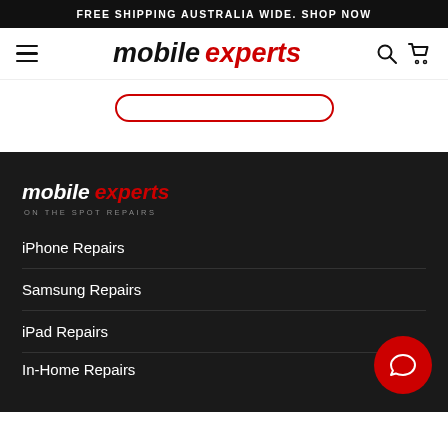FREE SHIPPING AUSTRALIA WIDE. SHOP NOW
[Figure (logo): Mobile Experts logo in navbar - 'mobile' in black italic bold, 'experts' in red italic bold]
[Figure (logo): Mobile Experts footer logo with tagline 'ON THE SPOT REPAIRS']
iPhone Repairs
Samsung Repairs
iPad Repairs
In-Home Repairs